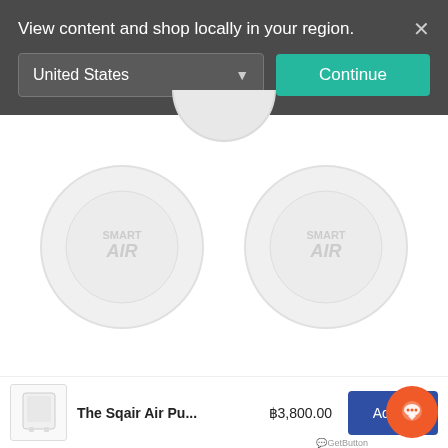View content and shop locally in your region.
[Figure (screenshot): Region selector dropdown showing 'United States' with a teal 'Continue' button]
[Figure (logo): Two Smart Air product placeholder circles with watermark logos]
[Figure (photo): Product thumbnail of The Sqair Air Purifier]
The Sqair Air Pu...
฿3,800.00
Add to
GetButton